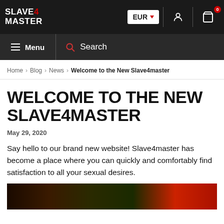SLAVE4MASTER — EUR — Menu — Search
Home > Blog > News > Welcome to the New Slave4master
WELCOME TO THE NEW SLAVE4MASTER
May 29, 2020
Say hello to our brand new website! Slave4master has become a place where you can quickly and comfortably find satisfaction to all your sexual desires.
[Figure (photo): Dark background photo partially visible at the bottom of the page]